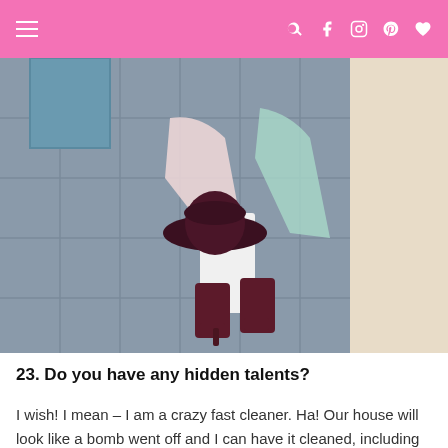navigation bar with hamburger menu and social icons
[Figure (photo): A person from the waist down wearing white pants, a floral kimono, holding a dark burgundy wide-brim hat, wearing burgundy suede block-heel ankle boots, standing on a tiled outdoor pavement against a light beige wall.]
23. Do you have any hidden talents?
I wish! I mean – I am a crazy fast cleaner. Ha! Our house will look like a bomb went off and I can have it cleaned, including